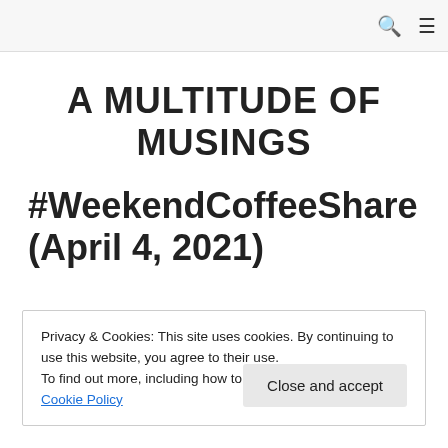A MULTITUDE OF MUSINGS
#WeekendCoffeeShare (April 4, 2021)
Privacy & Cookies: This site uses cookies. By continuing to use this website, you agree to their use.
To find out more, including how to control cookies, see here: Cookie Policy
Close and accept